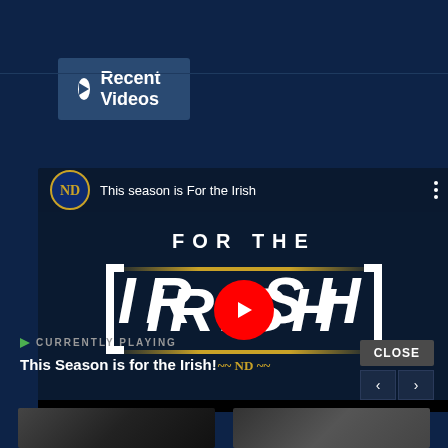Recent Videos
[Figure (screenshot): YouTube video thumbnail showing Notre Dame 'For the Irish' season video with play button overlay, ND logo, and video title bar]
CURRENTLY PLAYING
This Season is for the Irish!